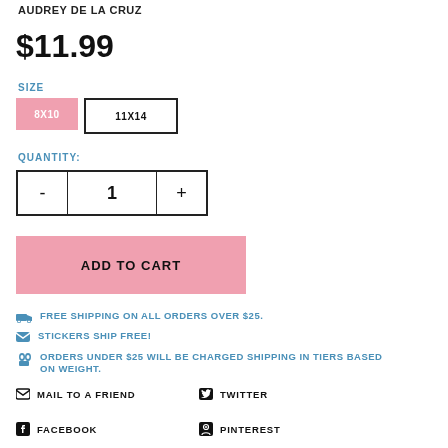AUDREY DE LA CRUZ
$11.99
SIZE
8X10  11X14
QUANTITY:
- 1 +
ADD TO CART
FREE SHIPPING ON ALL ORDERS OVER $25.
STICKERS SHIP FREE!
ORDERS UNDER $25 WILL BE CHARGED SHIPPING IN TIERS BASED ON WEIGHT.
MAIL TO A FRIEND
TWITTER
FACEBOOK
PINTEREST